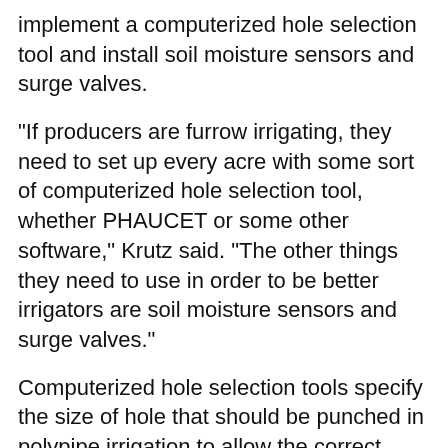implement a computerized hole selection tool and install soil moisture sensors and surge valves.
“If producers are furrow irrigating, they need to set up every acre with some sort of computerized hole selection tool, whether PHAUCET or some other software,” Krutz said. “The other things they need to use in order to be better irrigators are soil moisture sensors and surge valves.”
Computerized hole selection tools specify the size of hole that should be punched in polypipe irrigation to allow the correct amount of water to flow down each furrow. Soil moisture sensors read the actual level of moisture in the soil at various depths, and surge valves are computer driven to control the rate and timing of water applied to fields.
“There are only so many techniques we can use to increase irrigation efficiency, but if you put these tools